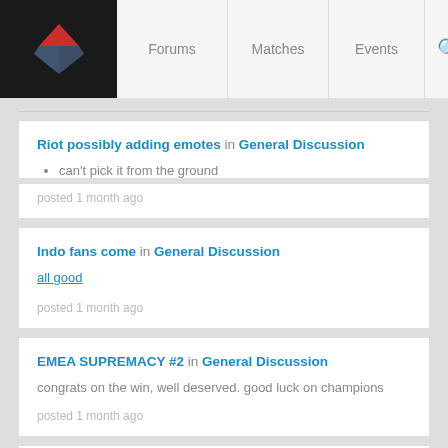Forums | Matches | Events
Riot possibly adding emotes in General Discussion
can't pick it from the ground
posted 1 month ago
Indo fans come in General Discussion
all good
posted 1 month ago
EMEA SUPREMACY #2 in General Discussion
congrats on the win, well deserved. good luck on champions
posted 1 month ago
GG in General Discussion
congrats for the title. well deserved